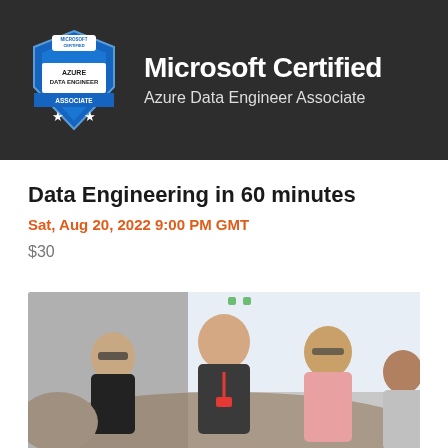[Figure (logo): Microsoft Certified Azure Data Engineer Associate banner with badge logo on dark background]
Data Engineering in 60 minutes
Sat, Aug 20, 2022 9:00 PM GMT
$30
[Figure (photo): Group of women sitting around a table in a classroom/workshop setting, engaged in discussion]